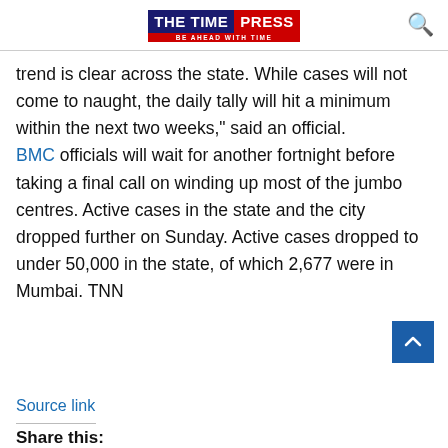THE TIME PRESS — BE AHEAD WITH TIME
trend is clear across the state. While cases will not come to naught, the daily tally will hit a minimum within the next two weeks," said an official. BMC officials will wait for another fortnight before taking a final call on winding up most of the jumbo centres. Active cases in the state and the city dropped further on Sunday. Active cases dropped to under 50,000 in the state, of which 2,677 were in Mumbai. TNN
Source link
Share this: